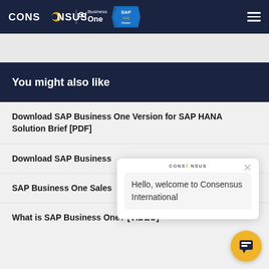CONSENSUS | SAP Business One | SAP Gold Partner
You might also like
Download SAP Business One Version for SAP HANA Solution Brief [PDF]
Download SAP Business
SAP Business One Sales
What is SAP Business One? [VIDEO]
Hello, welcome to Consensus International